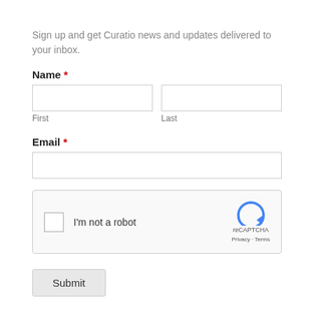Sign up and get Curatio news and updates delivered to your inbox.
Name *
First
Last
Email *
[Figure (other): reCAPTCHA widget with checkbox labeled 'I'm not a robot', reCAPTCHA logo, Privacy and Terms links]
Submit